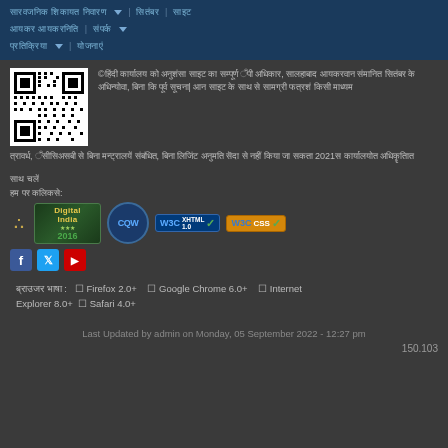Navigation bar with Hindi menu items and dropdown arrows
[Figure (other): QR code image]
©[Hindi text] copyright notice mentioning 2021 and related government portal information
Follow us on: [Digital India 2016 Award, CQW badge, W3C XHTML 1.0, W3C CSS badges] [Facebook, Twitter, YouTube icons]
Best viewed in: ✓ Firefox 2.0+  ✓ Google Chrome 6.0+  ✓ Internet Explorer 8.0+  ✓ Safari 4.0+
Last Updated by admin on Monday, 05 September 2022 - 12:27 pm
150.103